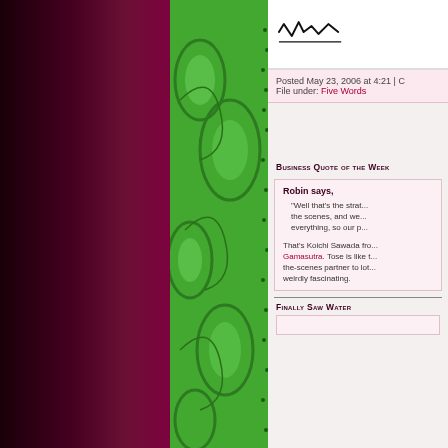[Figure (illustration): Decorative green paisley fabric pattern on left side, with dark maroon/burgundy strip on far left]
[Figure (illustration): Handwritten signature/autograph in black ink at top right]
Posted May 23, 2006 at 4:21 | File under: Five Words
Business Quote of the Week
Robin says,
"Well that's the stra... the scenes, and we... everything, so our p...
That's Koichi Sawada fro... Gamasutra. Tose is like t... the-scenes partner to lot... weirdly fascinating.
Finally Saw Water